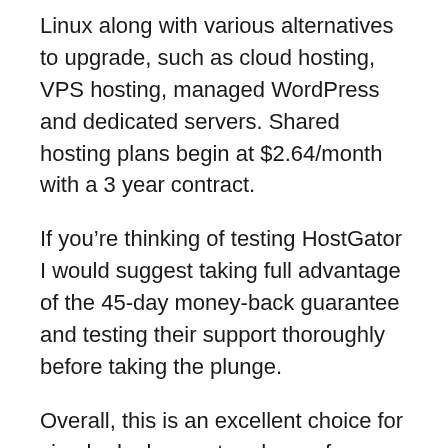Linux along with various alternatives to upgrade, such as cloud hosting, VPS hosting, managed WordPress and dedicated servers. Shared hosting plans begin at $2.64/month with a 3 year contract.
If you're thinking of testing HostGator I would suggest taking full advantage of the 45-day money-back guarantee and testing their support thoroughly before taking the plunge.
Overall, this is an excellent choice for simple deployment and uses for a business site, but doesn't always receive a lot of traffic each month. With VPS options, it will allow you to scale if you need.